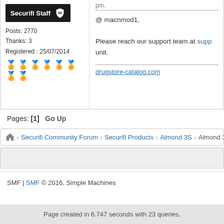Securifi Staff | Posts: 2770 | Thanks: 3 | Registered: 25/07/2014
pm.
@ macnmod1,

Please reach our support team at supp... unit.
drugstore-catalog.com
Pages: [1]  Go Up
Securifi Community Forum > Securifi Products > Almond 3S > Almond 3S
SMF | SMF © 2016, Simple Machines
Page created in 6.747 seconds with 23 queries.